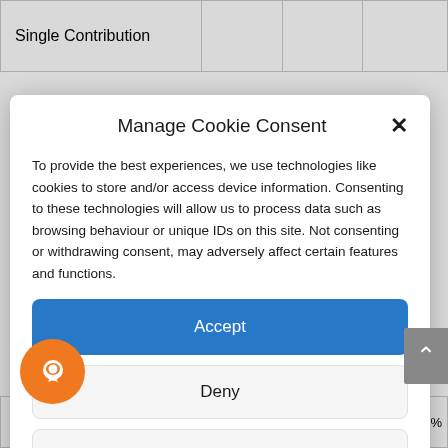| Single Contribution |  |  |  |
| --- | --- | --- | --- |
Manage Cookie Consent
To provide the best experiences, we use technologies like cookies to store and/or access device information. Consenting to these technologies will allow us to process data such as browsing behaviour or unique IDs on this site. Not consenting or withdrawing consent, may adversely affect certain features and functions.
Accept
Deny
View preferences
Cookie Policy  Privacy Notice
|  |  |  | 0.5% |